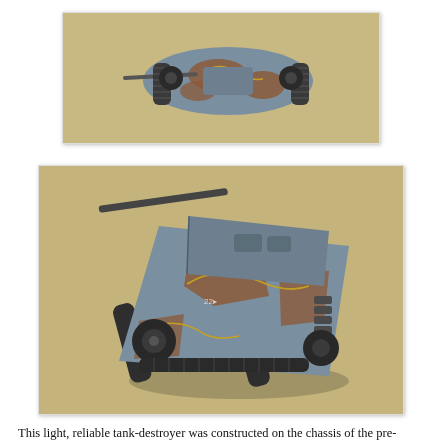[Figure (photo): Top-down/side view of a WWII German tank destroyer scale model with grey-blue and brown camouflage pattern and yellow outlines, photographed on a tan/khaki background.]
[Figure (photo): Three-quarter perspective view of the same WWII German tank destroyer scale model with grey-blue and brown camouflage pattern and yellow outlines, showing more detail of the hull, tracks, and superstructure, photographed on a tan/khaki background.]
This light, reliable tank-destroyer was constructed on the chassis of the pre-